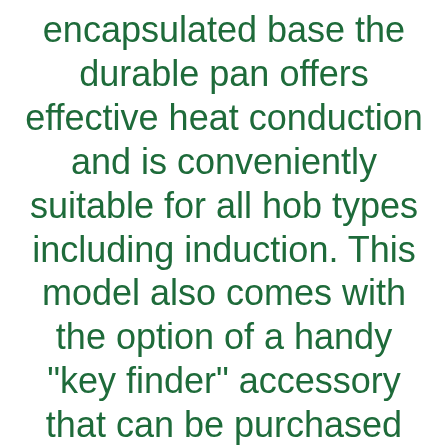encapsulated base the durable pan offers effective heat conduction and is conveniently suitable for all hob types including induction. This model also comes with the option of a handy "key finder" accessory that can be purchased separately, CAR+ Original SMALL SIZE steering wheel cover, this material is easier to put on and take off, One (x1) Bath Sheet (W100xL150cm),